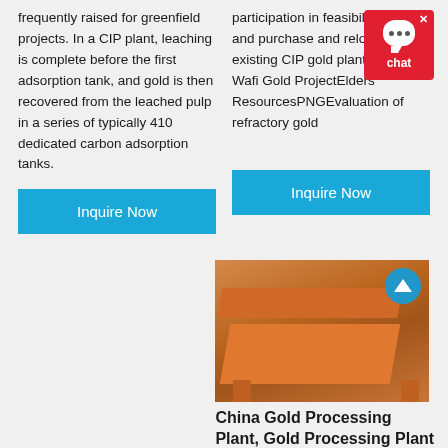frequently raised for greenfield projects. In a CIP plant, leaching is complete before the first adsorption tank, and gold is then recovered from the leached pulp in a series of typically 410 dedicated carbon adsorption tanks.
participation in feasibility studies, and purchase and relocation of existing CIP gold plant 199091 Wafi Gold ProjectElders ResourcesPNGEvaluation of refractory gold
Inquire Now
Inquire Now
[Figure (screenshot): Chat widget with red background, speech bubble icon with three dots, and 'chat' label]
[Figure (photo): Photo of an orange industrial vibrating screen / gold processing machine on a concrete yard with industrial buildings in background]
China Gold Processing Plant, Gold Processing Plant
China Gold Processing Plant